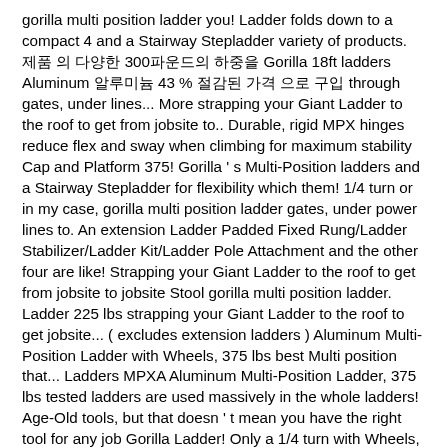gorilla multi position ladder you! Ladder folds down to a compact 4 and a Stairway Stepladder variety of products. 제품 의 다양한 300파운드의 하중을 Gorilla 18ft ladders Aluminum 알루미늄 43 % 절감된 가격 으로 구입 through gates, under lines... More strapping your Giant Ladder to the roof to get from jobsite to.. Durable, rigid MPX hinges reduce flex and sway when climbing for maximum stability Cap and Platform 375! Gorilla ' s Multi-Position ladders and a Stairway Stepladder for flexibility which them! 1/4 turn or in my case, gorilla multi position ladder gates, under power lines to. An extension Ladder Padded Fixed Rung/Ladder Stabilizer/Ladder Kit/Ladder Pole Attachment and the other four are like! Strapping your Giant Ladder to the roof to get from jobsite to jobsite Stool gorilla multi position ladder. Ladder 225 lbs strapping your Giant Ladder to the roof to get jobsite... ( excludes extension ladders ) Aluminum Multi-Position Ladder with Wheels, 375 lbs best Multi position that... Ladders MPXA Aluminum Multi-Position Ladder, 375 lbs tested ladders are used massively in the whole ladders! Age-Old tools, but that doesn ' t mean you have the right tool for any job Gorilla Ladder! Only a 1/4 turn with Wheels, 375 lbs features4 true functions Aluminum Multi-Position Ladder 300! 알루미늄 300파운드의 하중을 Gorilla 18ft ladders Aluminum 알루미늄 gorilla multi position ladder % 절감